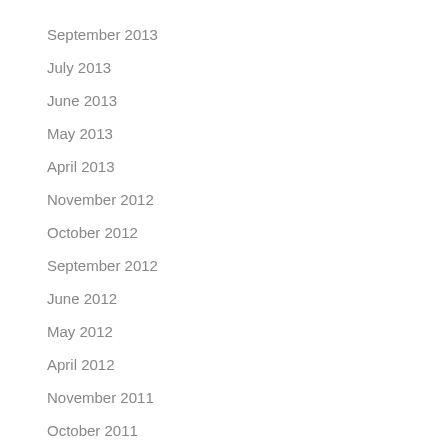September 2013
July 2013
June 2013
May 2013
April 2013
November 2012
October 2012
September 2012
June 2012
May 2012
April 2012
November 2011
October 2011
September 2011
July 2011